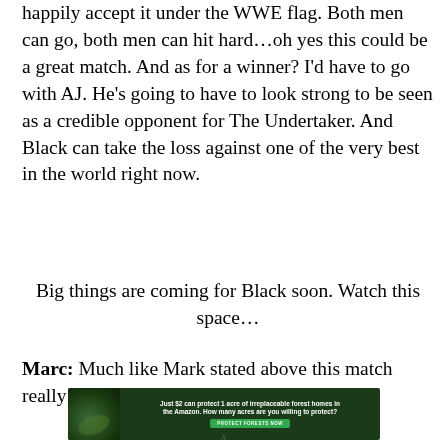happily accept it under the WWE flag. Both men can go, both men can hit hard…oh yes this could be a great match. And as for a winner? I'd have to go with AJ. He's going to have to look strong to be seen as a credible opponent for The Undertaker. And Black can take the loss against one of the very best in the world right now.
Big things are coming for Black soon. Watch this space…
Marc: Much like Mark stated above this match really
[Figure (infographic): Advertisement banner with dark forest background showing a sloth. Text reads: 'Just $2 can protect 1 acre of irreplaceable forest homes in the Amazon. How many acres are you willing to protect?' with a green button 'PROTECT FORESTS NOW']